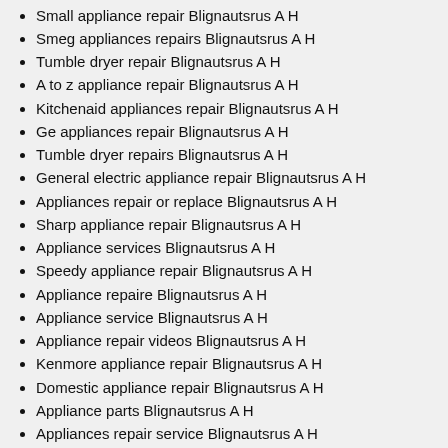Small appliance repair Blignautsrus A H
Smeg appliances repairs Blignautsrus A H
Tumble dryer repair Blignautsrus A H
A to z appliance repair Blignautsrus A H
Kitchenaid appliances repair Blignautsrus A H
Ge appliances repair Blignautsrus A H
Tumble dryer repairs Blignautsrus A H
General electric appliance repair Blignautsrus A H
Appliances repair or replace Blignautsrus A H
Sharp appliance repair Blignautsrus A H
Appliance services Blignautsrus A H
Speedy appliance repair Blignautsrus A H
Appliance repaire Blignautsrus A H
Appliance service Blignautsrus A H
Appliance repair videos Blignautsrus A H
Kenmore appliance repair Blignautsrus A H
Domestic appliance repair Blignautsrus A H
Appliance parts Blignautsrus A H
Appliances repair service Blignautsrus A H
Appliances repair services Blignautsrus A H
Home appliance repair service Blignautsrus A H
General electric appliance repair parts Blignautsrus A H
Smeg appliance repairs Blignautsrus A H
Appliance repair express Blignautsrus A H
All appliance services Blignautsrus A H
Microwave appliance repair Blignautsrus A H
Kitchen appliance repair Blignautsrus A H